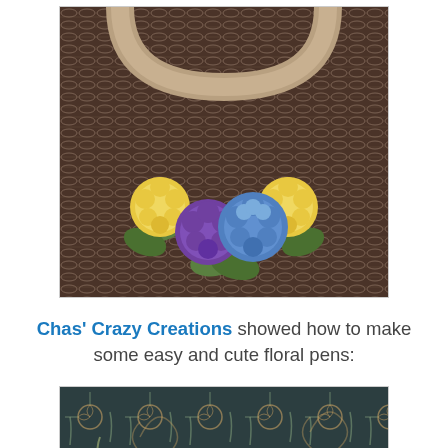[Figure (photo): Close-up photo of a crocheted bag with a rounded handle, decorated with crocheted flowers: two yellow pompom flowers, one purple flower, one blue hydrangea flower, and green leaves, on a dark brown/gray textured crochet background.]
Chas' Crazy Creations showed how to make some easy and cute floral pens:
[Figure (photo): Partially visible photo showing a dark teal/green patterned background with floral and swirl designs, and what appears to be a pen or pencil at the bottom edge.]